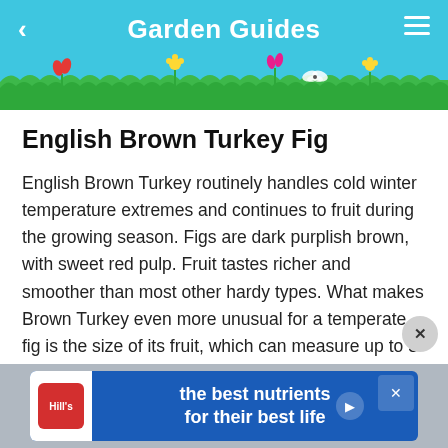Garden Guides
English Brown Turkey Fig
English Brown Turkey routinely handles cold winter temperature extremes and continues to fruit during the growing season. Figs are dark purplish brown, with sweet red pulp. Fruit tastes richer and smoother than most other hardy types. What makes Brown Turkey even more unusual for a temperate fig is the size of its fruit, which can measure up to 3 inches in diameter.
[Figure (infographic): Hill's pet nutrition advertisement banner at bottom: blue background with logo and text 'the best nutrients for their best life']